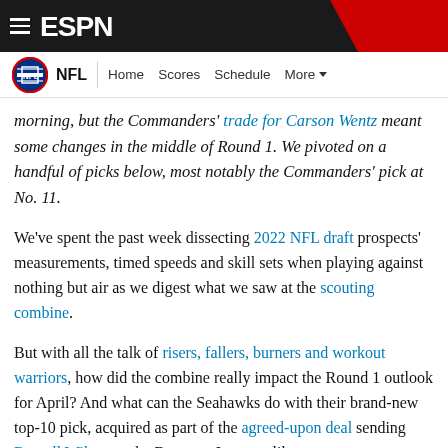ESPN - NFL - Home Scores Schedule More - SCORES
morning, but the Commanders' trade for Carson Wentz meant some changes in the middle of Round 1. We pivoted on a handful of picks below, most notably the Commanders' pick at No. 11.
We've spent the past week dissecting 2022 NFL draft prospects' measurements, timed speeds and skill sets when playing against nothing but air as we digest what we saw at the scouting combine.
But with all the talk of risers, fallers, burners and workout warriors, how did the combine really impact the Round 1 outlook for April? And what can the Seahawks do with their brand-new top-10 pick, acquired as part of the agreed-upon deal sending Russell Wilson to the Broncos. It seems like a